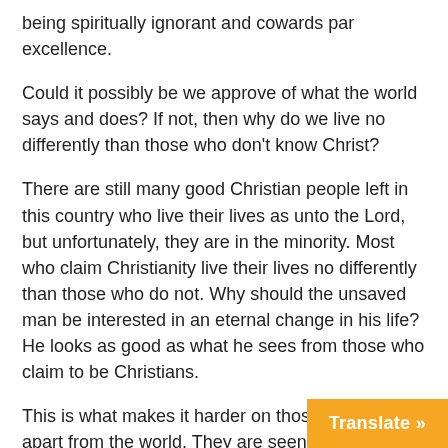being spiritually ignorant and cowards par excellence.
Could it possibly be we approve of what the world says and does? If not, then why do we live no differently than those who don't know Christ?
There are still many good Christian people left in this country who live their lives as unto the Lord, but unfortunately, they are in the minority. Most who claim Christianity live their lives no differently than those who do not. Why should the unsaved man be interested in an eternal change in his life? He looks as good as what he sees from those who claim to be Christians.
This is what makes it harder on those who do live apart from the world. They are seen as old fuddy-duddies, mean-spirited and uncompromising. The truth is that real Christians are the most loving people there are, but because they won't jump in the sewer with everyone else, they're labeled a party-pooper (pardon the pun).
Translate »